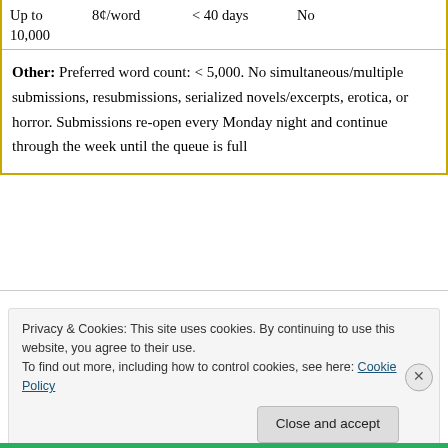| Up to 10,000 | 8¢/word | < 40 days | No |
Other: Preferred word count: < 5,000. No simultaneous/multiple submissions, resubmissions, serialized novels/excerpts, erotica, or horror. Submissions re-open every Monday night and continue through the week until the queue is full
Privacy & Cookies: This site uses cookies. By continuing to use this website, you agree to their use.
To find out more, including how to control cookies, see here: Cookie Policy